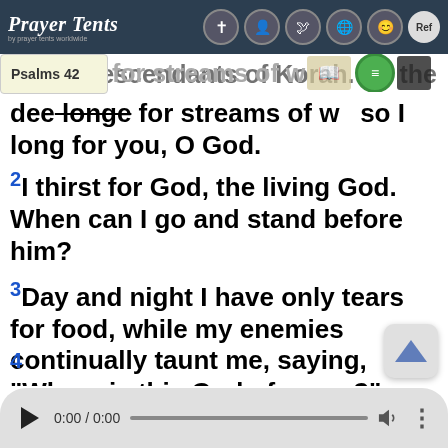Prayer Tents — Navigation bar with logo and icons
Psalms 42 — tooltip overlay showing chapter label
of the descendants of Korah. As the deer longe for streams of water, so I long for you, O God.
2I thirst for God, the living God. When can I go and stand before him?
3Day and night I have only tears for food, while my enemies continually taunt me, saying, "Where is this God of yours?"
4
[Figure (screenshot): Audio player bar at bottom showing play button, 0:00 / 0:00 time, progress bar, volume icon, and more options icon]